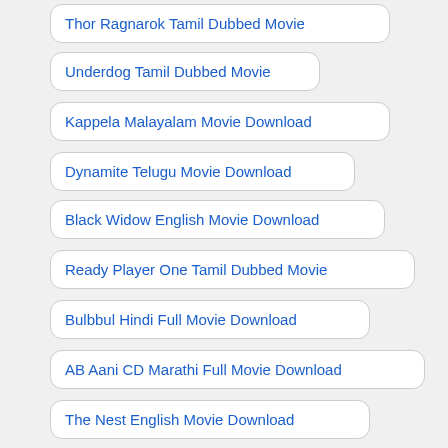Thor Ragnarok Tamil Dubbed Movie
Underdog Tamil Dubbed Movie
Kappela Malayalam Movie Download
Dynamite Telugu Movie Download
Black Widow English Movie Download
Ready Player One Tamil Dubbed Movie
Bulbbul Hindi Full Movie Download
AB Aani CD Marathi Full Movie Download
The Nest English Movie Download